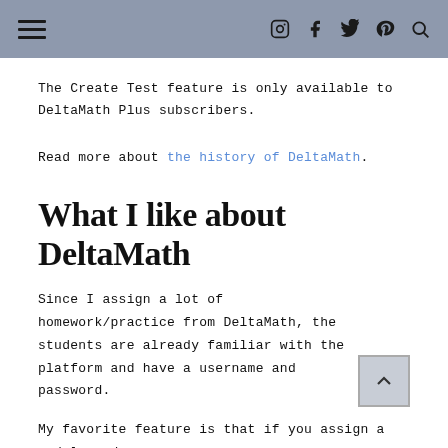[hamburger menu] [instagram] [facebook] [twitter] [pinterest] [search]
The Create Test feature is only available to DeltaMath Plus subscribers.
Read more about the history of DeltaMath.
What I like about DeltaMath
Since I assign a lot of homework/practice from DeltaMath, the students are already familiar with the platform and have a username and password.
My favorite feature is that if you assign a module and